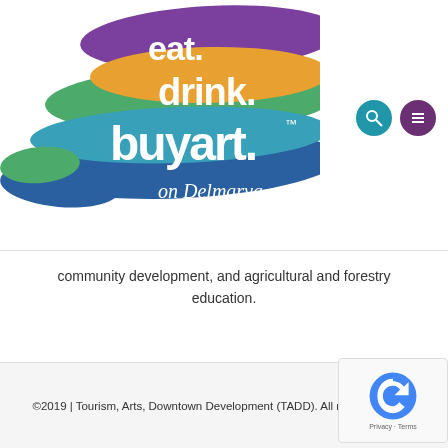[Figure (logo): Eat. Drink. Buy Art. on Delmarva logo with colorful paint brushstrokes in purple, green, orange, and blue with white text]
community development, and agricultural and forestry education.
©2019 | Tourism, Arts, Downtown Development (TADD). All rights reserved.